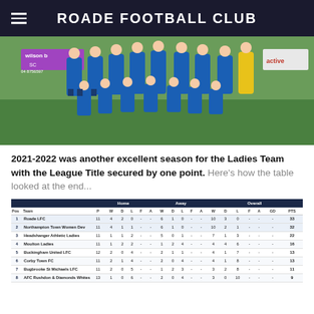ROADE FOOTBALL CLUB
[Figure (photo): Team photo of Roade FC Ladies in blue kits posing on a football pitch with sponsors banners visible (wilson, active, ARITCO)]
2021-2022 was another excellent season for the Ladies Team with the League Title secured by one point. Here's how the table looked at the end...
| Pos | Team | P | W | D | L | F | A | W | D | L | F | A | W | D | L | F | A | GD | PTS |
| --- | --- | --- | --- | --- | --- | --- | --- | --- | --- | --- | --- | --- | --- | --- | --- | --- | --- | --- | --- |
| 1 | Roade LFC | 11 | 4 | 2 | 0 | - | - | 6 | 1 | 0 | - | - | 10 | 3 | 0 | - | - | - | 33 |
| 2 | Northampton Town Women Dev | 11 | 4 | 1 | 1 | - | - | 6 | 1 | 0 | - | - | 10 | 2 | 1 | - | - | - | 32 |
| 3 | Headshanger Athletic Ladies | 11 | 1 | 1 | 2 | - | - | 5 | 0 | 1 | - | - | 7 | 1 | 3 | - | - | - | 22 |
| 4 | Moulton Ladies | 11 | 1 | 2 | 2 | - | - | 1 | 2 | 4 | - | - | 4 | 4 | 6 | - | - | - | 16 |
| 5 | Buckingham United LFC | 12 | 2 | 0 | 4 | - | - | 2 | 1 | 1 | - | - | 4 | 1 | 7 | - | - | - | 13 |
| 6 | Corby Town FC | 11 | 2 | 1 | 4 | - | - | 2 | 0 | 4 | - | - | 4 | 1 | 8 | - | - | - | 13 |
| 7 | Bugbrooke St Michaels LFC | 11 | 2 | 0 | 5 | - | - | 1 | 2 | 3 | - | - | 3 | 2 | 8 | - | - | - | 11 |
| 8 | AFC Rushdon & Diamonds Whites | 13 | 1 | 0 | 6 | - | - | 2 | 0 | 4 | - | - | 3 | 0 | 10 | - | - | - | 9 |